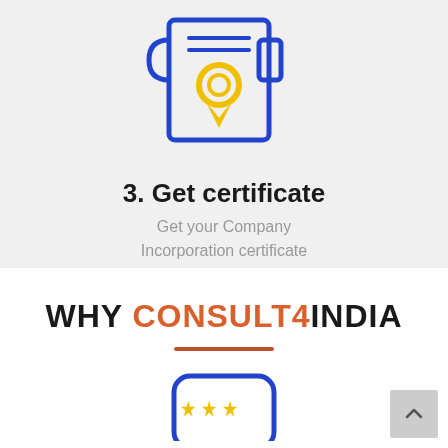[Figure (illustration): Certificate icon with a scroll/document shape in blue outline, featuring a gold/yellow circular badge/seal and a yellow ribbon underneath, centered on a light gray background]
3. Get certificate
Get your Company Incorporation certificate
WHY CONSULT4INDIA
[Figure (illustration): Rounded rectangle icon in blue outline containing three yellow stars, partially visible at bottom of page]